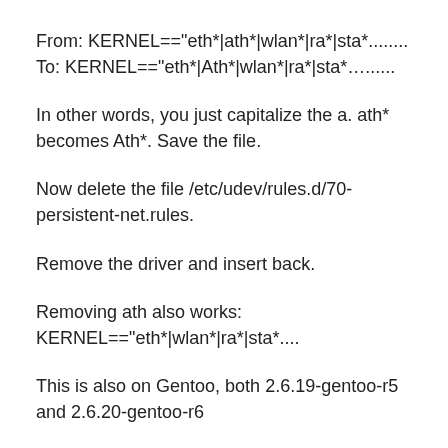From: KERNEL=="eth*|ath*|wlan*|ra*|sta*........ To: KERNEL=="eth*|Ath*|wlan*|ra*|sta*…......
In other words, you just capitalize the a. ath* becomes Ath*. Save the file.
Now delete the file /etc/udev/rules.d/70-persistent-net.rules.
Remove the driver and insert back.
Removing ath also works: KERNEL=="eth*|wlan*|ra*|sta*....
This is also on Gentoo, both 2.6.19-gentoo-r5 and 2.6.20-gentoo-r6
For Ubuntu, see this    Forum posting. The modified version of /etc/udev/rules.d/75-persistent-net-generator.rules is: